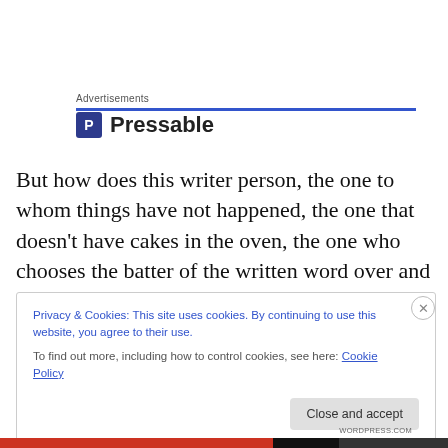Advertisements
[Figure (logo): Pressable logo with 'P' icon in dark blue square and bold text 'Pressable']
But how does this writer person, the one to whom things have not happened, the one that doesn't have cakes in the oven, the one who chooses the batter of the written word over and over again, get through to me, the one who owns the computer?
Privacy & Cookies: This site uses cookies. By continuing to use this website, you agree to their use.
To find out more, including how to control cookies, see here: Cookie Policy
Close and accept